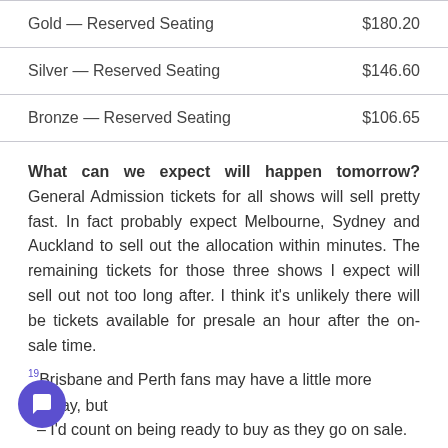| Category | Price |
| --- | --- |
| Gold — Reserved Seating | $180.20 |
| Silver — Reserved Seating | $146.60 |
| Bronze — Reserved Seating | $106.65 |
What can we expect will happen tomorrow? General Admission tickets for all shows will sell pretty fast. In fact probably expect Melbourne, Sydney and Auckland to sell out the allocation within minutes. The remaining tickets for those three shows I expect will sell out not too long after. I think it's unlikely there will be tickets available for presale an hour after the on-sale time.
Brisbane and Perth fans may have a little more leeway, but I'd count on being ready to buy as they go on sale.